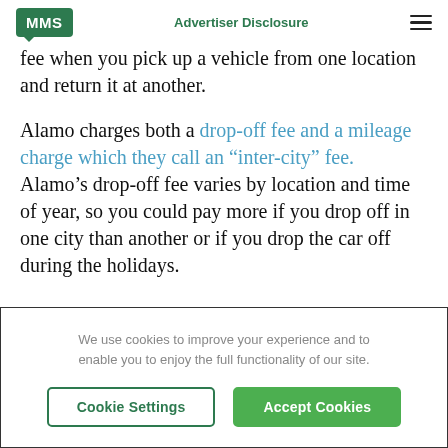MMS | Advertiser Disclosure
fee when you pick up a vehicle from one location and return it at another.

Alamo charges both a drop-off fee and a mileage charge which they call an “inter-city” fee. Alamo’s drop-off fee varies by location and time of year, so you could pay more if you drop off in one city than another or if you drop the car off during the holidays.
We use cookies to improve your experience and to enable you to enjoy the full functionality of our site.
Cookie Settings | Accept Cookies